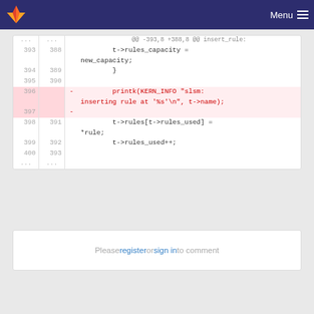GitLab navigation bar with logo and Menu
[Figure (screenshot): Git diff view showing code changes in a C file. Lines 393-400 on left (old), 388-393 on right (new). Lines 396-397 are removed (highlighted red), showing a printk(KERN_INFO "slsm: inserting rule at '%s'\n", t->name); statement being deleted.]
Please register or sign in to comment